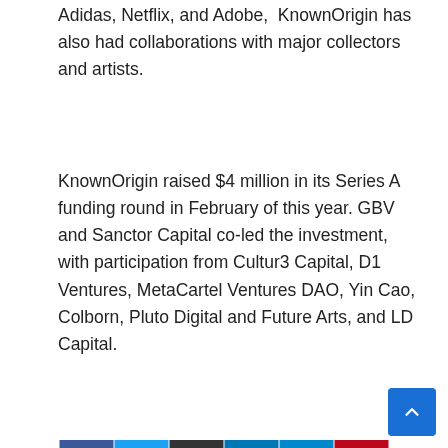Adidas, Netflix, and Adobe,  KnownOrigin has also had collaborations with major collectors and artists.
KnownOrigin raised $4 million in its Series A funding round in February of this year. GBV and Sanctor Capital co-led the investment, with participation from Cultur3 Capital, D1 Ventures, MetaCartel Ventures DAO, Yin Cao, Colborn, Pluto Digital and Future Arts, and LD Capital.
[Figure (infographic): Social share buttons: Facebook (blue), Twitter (light blue), Email (dark/black), LinkedIn (blue), Telegram (teal), Pinterest (red)]
« Bitcoin Tests $21K as Ripple Explodes 14% in 24 Hours (Market
New Crypto Incident Response Program